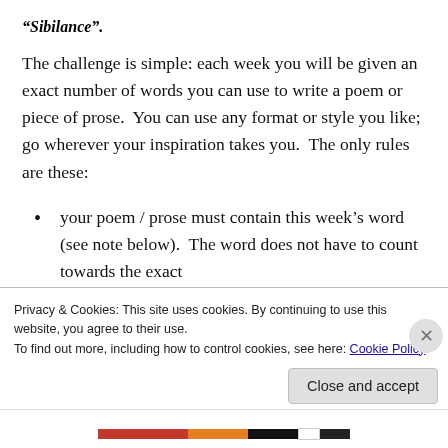“Sibilance”.
The challenge is simple: each week you will be given an exact number of words you can use to write a poem or piece of prose.  You can use any format or style you like; go wherever your inspiration takes you.  The only rules are these:
your poem / prose must contain this week’s word (see note below).  The word does not have to count towards the exact
Privacy & Cookies: This site uses cookies. By continuing to use this website, you agree to their use.
To find out more, including how to control cookies, see here: Cookie Policy
Close and accept